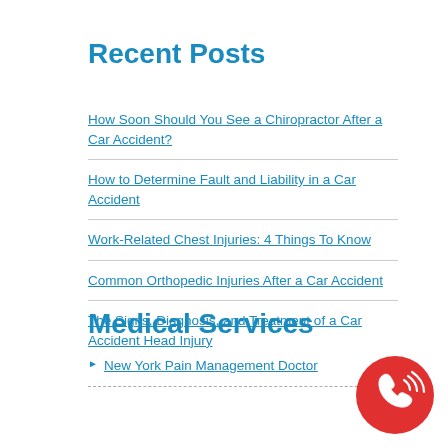Recent Posts
How Soon Should You See a Chiropractor After a Car Accident?
How to Determine Fault and Liability in a Car Accident
Work-Related Chest Injuries: 4 Things To Know
Common Orthopedic Injuries After a Car Accident
The Signs, Diagnosis, and Treatment of a Car Accident Head Injury
Medical Services
New York Pain Management Doctor
[Figure (illustration): Red circle phone icon with signal waves]